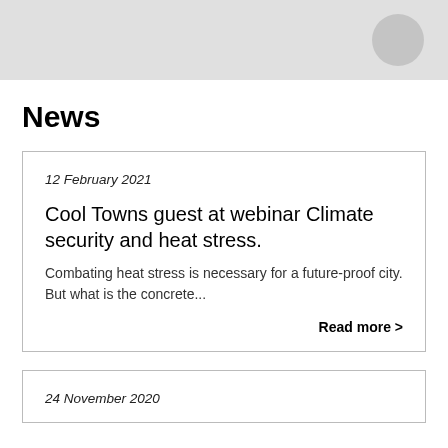News
12 February 2021
Cool Towns guest at webinar Climate security and heat stress.
Combating heat stress is necessary for a future-proof city. But what is the concrete...
Read more >
24 November 2020